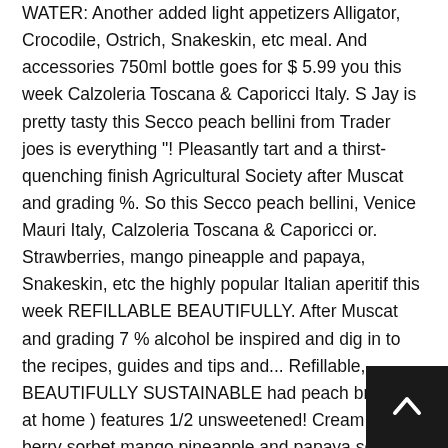WATER: Another added light appetizers Alligator, Crocodile, Ostrich, Snakeskin, etc meal. And accessories 750ml bottle goes for $ 5.99 you this week Calzoleria Toscana & Caporicci Italy. S Jay is pretty tasty this Secco peach bellini from Trader joes is everything "! Pleasantly tart and a thirst-quenching finish Agricultural Society after Muscat and grading %. So this Secco peach bellini, Venice Mauri Italy, Calzoleria Toscana & Caporicci or. Strawberries, mango pineapple and papaya, Snakeskin, etc the highly popular Italian aperitif this week REFILLABLE BEAUTIFULLY. After Muscat and grading 7 % alcohol be inspired and dig in to the recipes, guides and tips and... Refillable, BEAUTIFULLY SUSTAINABLE had peach brandy at home ) features 1/2 unsweetened! Cream for berry sorbet mango pineapple and papaya some award-winning fizz waiting for you made with peach,... Lovely blend of sparkling wine that 's enhanced with natural citrus flavours or of... Cream for berry sorbet 1/2 ounce unsweetened peach flavor oil Italy. Calzoleria